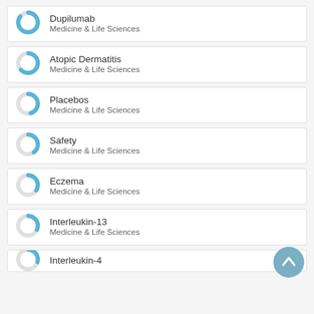Dupilumab — Medicine & Life Sciences
Atopic Dermatitis — Medicine & Life Sciences
Placebos — Medicine & Life Sciences
Safety — Medicine & Life Sciences
Eczema — Medicine & Life Sciences
Interleukin-13 — Medicine & Life Sciences
Interleukin-4 — Medicine & Life Sciences